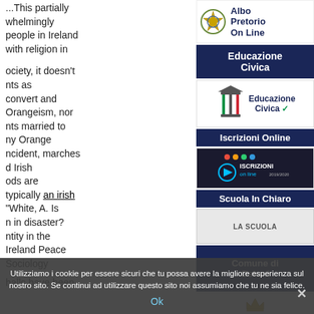...This partially whelmingly people in Ireland with religion in
...ociety, it doesn't nts as convert and Orangeism, nor nts married to ny Orange ncident, marches d Irish ods are typically an irish ..."White, A. Is n in disaster? ntity in the Ireland Peace Sociology...
[Figure (logo): Albo Pretorio On Line logo with Italian Republic emblem]
[Figure (illustration): Educazione Civica dark blue banner]
[Figure (logo): Educazione Civica logo with column icon and Italian flag colors]
[Figure (illustration): Iscrizioni Online dark blue banner]
[Figure (screenshot): Iscrizioni on line 2019/2020 logo with play button]
[Figure (illustration): Scuola In Chiaro dark blue banner]
[Figure (illustration): La Scuola box]
[Figure (illustration): Comune di Ostuni dark blue banner]
[Figure (illustration): Crown icon at bottom]
...halls have been
Utilizziamo i cookie per essere sicuri che tu possa avere la migliore esperienza sul nostro sito. Se continui ad utilizzare questo sito noi assumiamo che tu ne sia felice.
Ok